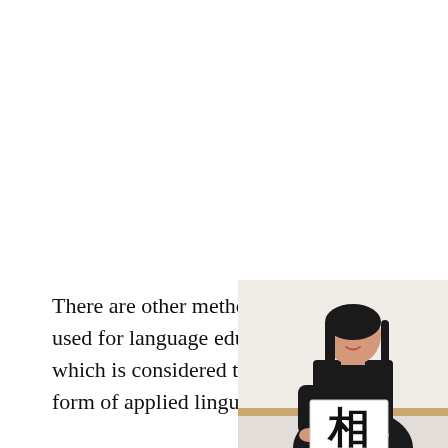There are other methods used for language education, which is considered to be a form of applied linguistics,
[Figure (photo): A woman in a black outfit holding up a white card displaying a Chinese character (相) in front of a whiteboard, appearing to be a language teacher demonstrating character recognition.]